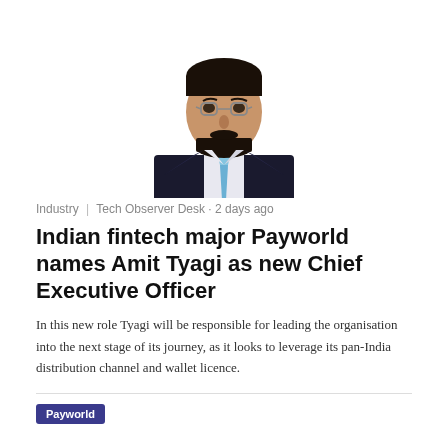[Figure (photo): Professional headshot of a man in a dark suit with a light blue tie, wearing glasses, against a white background]
Industry | Tech Observer Desk · 2 days ago
Indian fintech major Payworld names Amit Tyagi as new Chief Executive Officer
In this new role Tyagi will be responsible for leading the organisation into the next stage of its journey, as it looks to leverage its pan-India distribution channel and wallet licence.